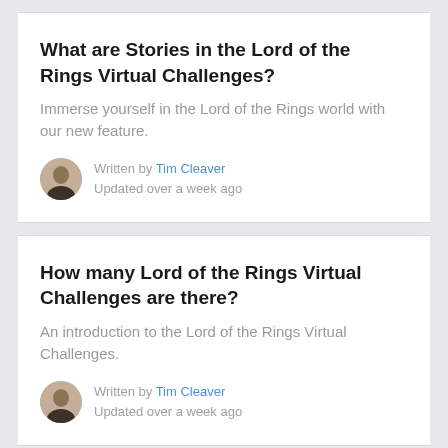What are Stories in the Lord of the Rings Virtual Challenges?
Immerse yourself in the Lord of the Rings world with our new feature.
Written by Tim Cleaver
Updated over a week ago
How many Lord of the Rings Virtual Challenges are there?
An introduction to the Lord of the Rings Virtual Challenges.
Written by Tim Cleaver
Updated over a week ago
What are Fellowships in the Lord of the